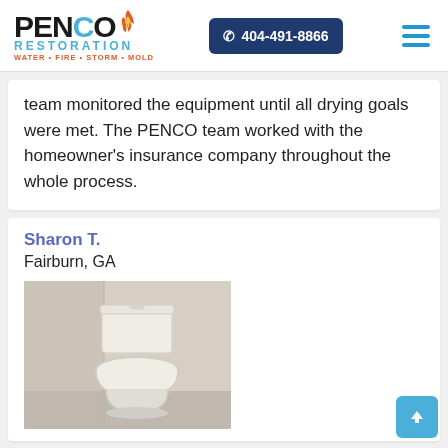PENCO RESTORATION - WATER · FIRE · STORM · MOLD | 404-491-8866
team monitored the equipment until all drying goals were met. The PENCO team worked with the homeowner's insurance company throughout the whole process.
Sharon T.
Fairburn, GA
[Figure (photo): Photo of a white toilet in a bathroom corner with beige/white walls]